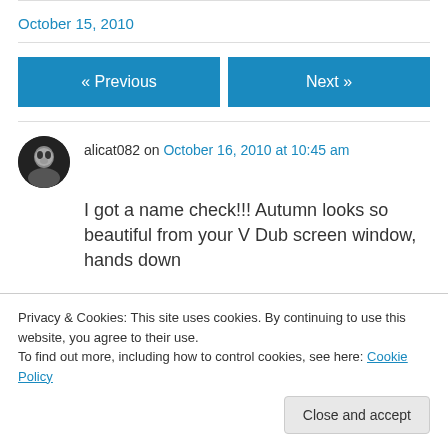October 15, 2010
« Previous
Next »
alicat082 on October 16, 2010 at 10:45 am
I got a name check!!! Autumn looks so beautiful from your V Dub screen window, hands down
Privacy & Cookies: This site uses cookies. By continuing to use this website, you agree to their use.
To find out more, including how to control cookies, see here: Cookie Policy
Close and accept